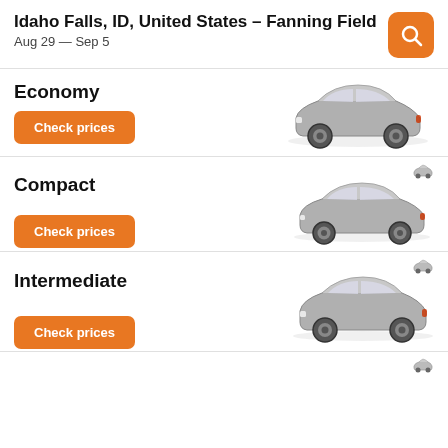Idaho Falls, ID, United States - Fanning Field
Aug 29 — Sep 5
Economy
[Figure (illustration): Silver compact car illustration for Economy category]
Check prices
Compact
[Figure (illustration): Silver compact car illustration for Compact category]
Check prices
Intermediate
[Figure (illustration): Silver compact car illustration for Intermediate category]
Check prices